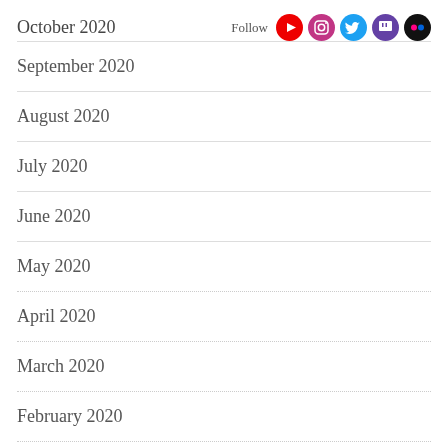October 2020
September 2020
August 2020
July 2020
June 2020
May 2020
April 2020
March 2020
February 2020
January 2020